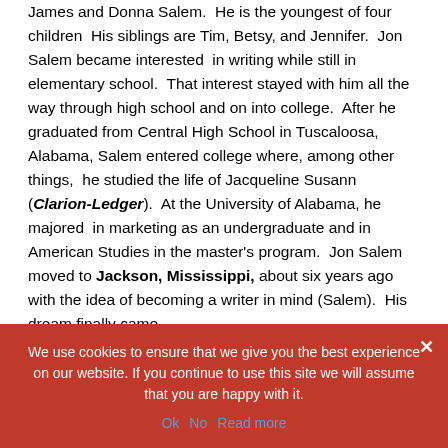James and Donna Salem.  He is the youngest of four children  His siblings are Tim, Betsy, and Jennifer.  Jon Salem became interested  in writing while still in elementary school.  That interest stayed with him all the way through high school and on into college.  After he graduated from Central High School in Tuscaloosa, Alabama, Salem entered college where, among other things,  he studied the life of Jacqueline Susann (Clarion-Ledger).  At the University of Alabama, he majored  in marketing as an undergraduate and in American Studies in the master's program.  Jon Salem moved to Jackson, Mississippi, about six years ago with the idea of becoming a writer in mind (Salem).  His dream finally came
We use cookies to ensure that we give you the best experience on our website. If you continue to use this site we will assume that you are happy with it.